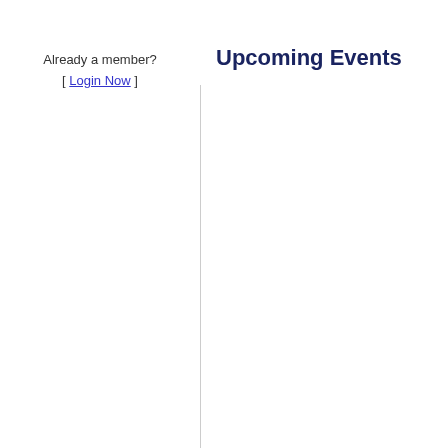Already a member? [ Login Now ]
Upcoming Events